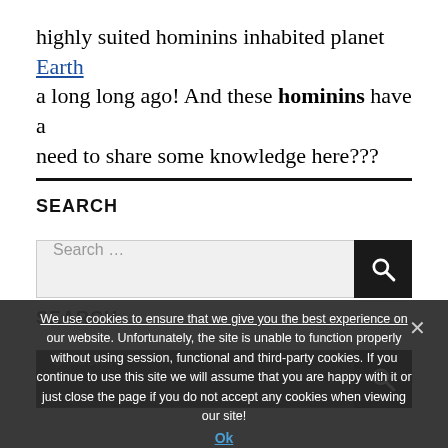highly suited hominins inhabited planet Earth a long long ago! And these hominins have a need to share some knowledge here???
SEARCH
Search ...
We use cookies to ensure that we give you the best experience on our website. Unfortunately, the site is unable to function properly without using session, functional and third-party cookies. If you continue to use this site we will assume that you are happy with it or just close the page if you do not accept any cookies when viewing our site!
Ok
SEARCH
Search ...